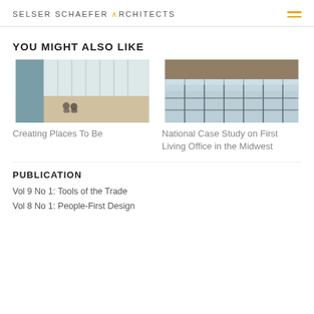SELSER SCHAEFER ARCHITECTS
YOU MIGHT ALSO LIKE
[Figure (photo): Interior architectural photo showing two people sitting on the floor in a large space with white curtain panels and light walls]
Creating Places To Be
[Figure (photo): Exterior photo of a modern glass office building facade with dark framing and an overhanging canopy]
National Case Study on First Living Office in the Midwest
PUBLICATION
Vol 9 No 1: Tools of the Trade
Vol 8 No 1: People-First Design